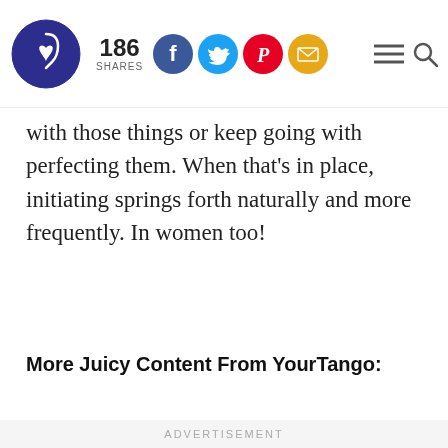186 SHARES [Facebook, Twitter, Pinterest, Email social share buttons] [menu] [search]
with those things or keep going with perfecting them. When that’s in place, initiating springs forth naturally and more frequently. In women too!
More Juicy Content From YourTango:
ADVERTISEMENT